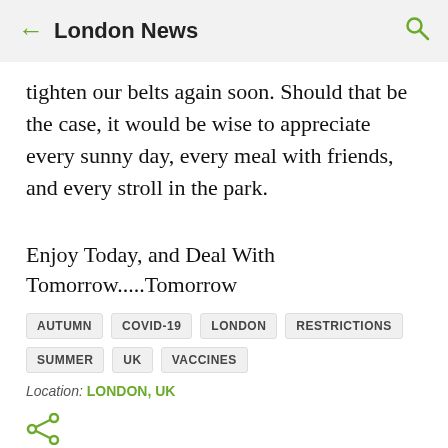London News
tighten our belts again soon. Should that be the case, it would be wise to appreciate every sunny day, every meal with friends, and every stroll in the park.
Enjoy Today, and Deal With Tomorrow.....Tomorrow
AUTUMN
COVID-19
LONDON
RESTRICTIONS
SUMMER
UK
VACCINES
Location: LONDON, UK